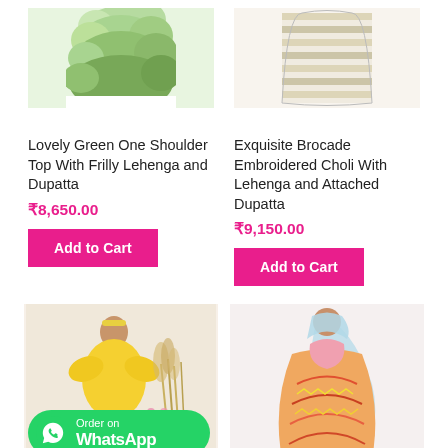[Figure (photo): Green frilly lehenga top product image (cropped, top portion visible)]
[Figure (photo): Brocade embroidered choli lehenga product image (cropped, top portion visible)]
Lovely Green One Shoulder Top With Frilly Lehenga and Dupatta
₹8,650.00
Add to Cart
Exquisite Brocade Embroidered Choli With Lehenga and Attached Dupatta
₹9,150.00
Add to Cart
[Figure (photo): Girl in yellow ruffle dress standing next to dried grass and flowers]
[Figure (photo): Colorful embroidered lehenga with light blue dupatta, shown from back]
[Figure (logo): WhatsApp Order badge with green background, WhatsApp icon, text 'Order on WhatsApp']